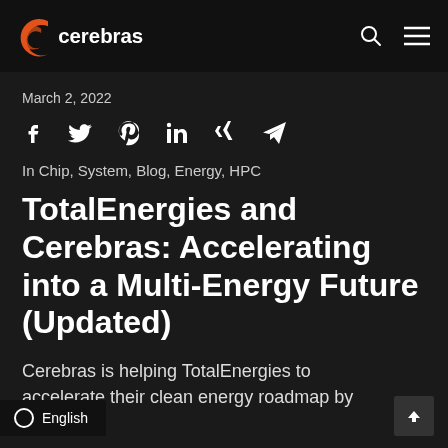[Figure (logo): Cerebras logo with orange circular C icon and white 'cerebras' wordmark on dark background, with search and hamburger menu icons top right]
March 2, 2022
[Figure (infographic): Social sharing icons: Facebook, Twitter, Pinterest, LinkedIn, Xing, Telegram]
In Chip, System, Blog, Energy, HPC
TotalEnergies and Cerebras: Accelerating into a Multi-Energy Future (Updated)
Cerebras is helping TotalEnergies to accelerate their clean energy roadmap by